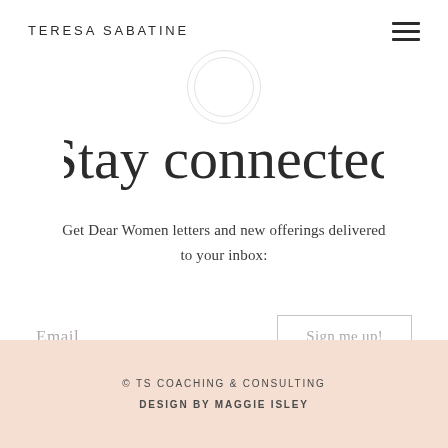TERESA SABATINE
Stay connected
Get Dear Women letters and new offerings delivered to your inbox:
Email
Sign me up!
© TS COACHING & CONSULTING
DESIGN BY MAGGIE ISLEY